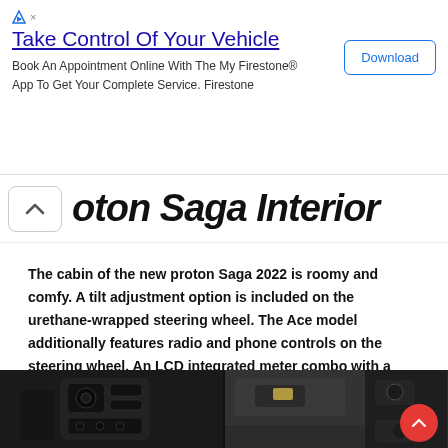[Figure (infographic): Advertisement banner: 'Take Control Of Your Vehicle' with Firestone app promotion and Download button]
oton Saga Interior
The cabin of the new proton Saga 2022 is roomy and comfy. A tilt adjustment option is included on the urethane-wrapped steering wheel. The Ace model additionally features radio and phone controls on the steering wheel. An LCD integrated meter combo with a multi-information display is mounted behind the steering wheel.
[Figure (photo): Two car interior photos side by side: left shows door panel controls/switches, right shows sun visor area near steering column]